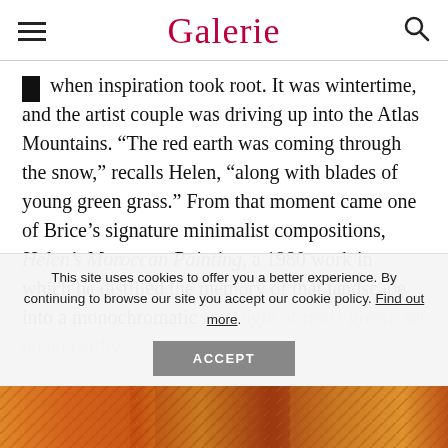Galerie
when inspiration took root. It was wintertime, and the artist couple was driving up into the Atlas Mountains. “The red earth was coming through the snow,” recalls Helen, “along with blades of young green grass.” From that moment came one of Brice’s signature minimalist compositions, Helen’s Moroccan Painting, a 1980 work in which he distilled the memory of that landscape into a monochromatic rectangle of moss green, set on an earthy
This site uses cookies to offer you a better experience. By continuing to browse our site you accept our cookie policy. Find out more.
[Figure (photo): Colorful patterned artwork or textiles visible at the bottom of the page]